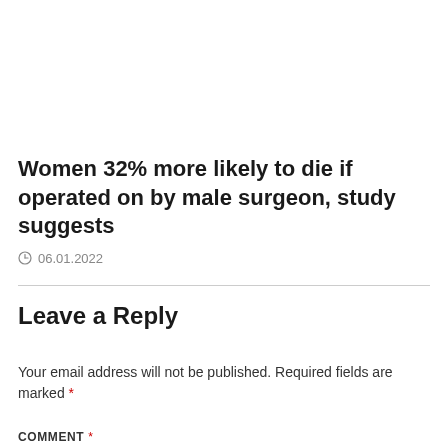Women 32% more likely to die if operated on by male surgeon, study suggests
06.01.2022
Leave a Reply
Your email address will not be published. Required fields are marked *
COMMENT *